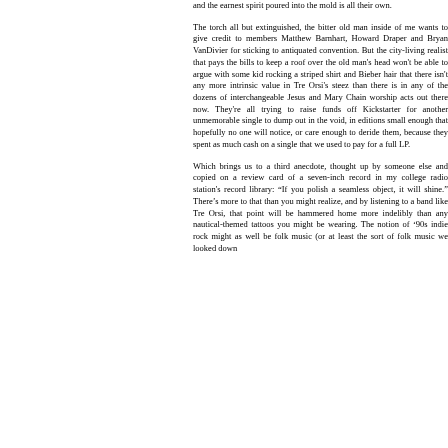and the earnest spirit poured into the mold is all their own.

The torch all but extinguished, the bitter old man inside of me wants to give credit to members Matthew Barnhart, Howard Draper and Bryan VanDivier for sticking to antiquated convention. But the city-living realist that pays the bills to keep a roof over the old man's head won't be able to argue with some kid rocking a striped shirt and Bieber hair that there isn't any more intrinsic value in Tre Orsi's steez than there is in any of the dozens of interchangeable Jesus and Mary Chain worship acts out there now. They're all trying to raise funds off Kickstarter for another unmemorable single to dump out in the void, in editions small enough that hopefully no one will notice, or care enough to deride them, because they spent as much cash on a single that we used to pay for a full LP.

Which brings us to a third anecdote, thought up by someone else and copied on a review card of a seven-inch record in my college radio station's record library: "If you polish a seamless object, it will shine." There's more to that than you might realize, and by listening to a band like Tre Orsi, that point will be hammered home more indelibly than any nautical-themed tattoos you might be wearing. The notion of '90s indie rock might as well be folk music (or at least the sort of folk music we looked down